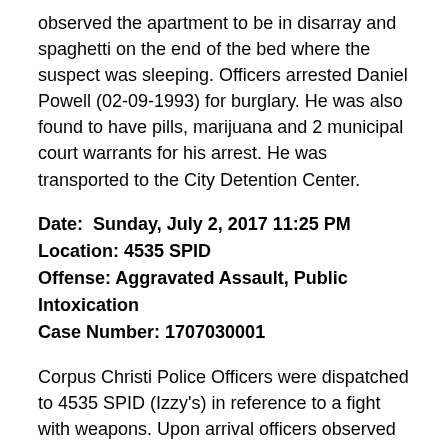observed the apartment to be in disarray and spaghetti on the end of the bed where the suspect was sleeping. Officers arrested Daniel Powell (02-09-1993) for burglary. He was also found to have pills, marijuana and 2 municipal court warrants for his arrest. He was transported to the City Detention Center.
Date: Sunday, July 2, 2017 11:25 PM
Location: 4535 SPID
Offense: Aggravated Assault, Public Intoxication
Case Number: 1707030001
Corpus Christi Police Officers were dispatched to 4535 SPID (Izzy's) in reference to a fight with weapons. Upon arrival officers observed multiple subjects and one of them holding a knife. Officers detained the 29 year old male suspect. Officers contacted the 35 year old male victim,